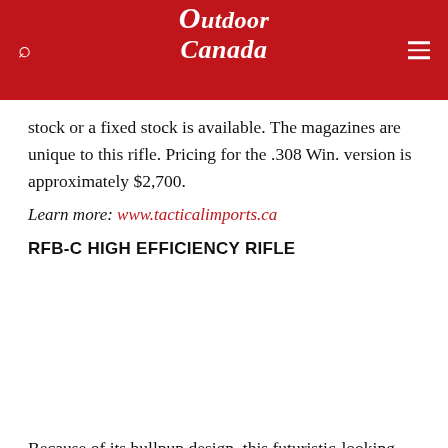Outdoor Canada
stock or a fixed stock is available. The magazines are unique to this rifle. Pricing for the .308 Win. version is approximately $2,700.
Learn more: www.tacticalimports.ca
RFB-C HIGH EFFICIENCY RIFLE
[Figure (photo): Image of RFB-C High Efficiency Rifle (white/blank area)]
Because of its bullpup design, this futuristic-looking firearm